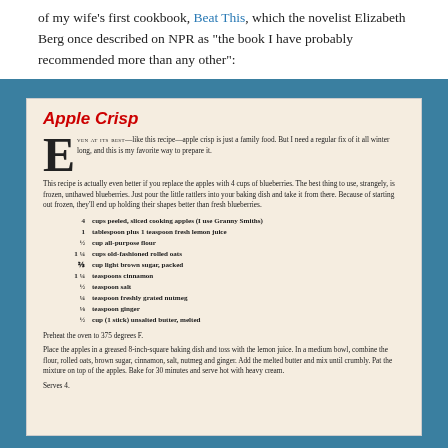of my wife’s first cookbook, Beat This, which the novelist Elizabeth Berg once described on NPR as “the book I have probably recommended more than any other”:
Apple Crisp
Even at its best—like this recipe—apple crisp is just a family food. But I need a regular fix of it all winter long, and this is my favorite way to prepare it.
This recipe is actually even better if you replace the apples with 4 cups of blueberries. The best thing to use, strangely, is frozen, unthawed blueberries. Just pour the little rattlers into your baking dish and take it from there. Because of starting out frozen, they’ll end up holding their shapes better than fresh blueberries.
4  cups peeled, sliced cooking apples (I use Granny Smiths)
1  tablespoon plus 1 teaspoon fresh lemon juice
½  cup all-purpose flour
1 ¼  cups old-fashioned rolled oats
⅔  cup light brown sugar, packed
1 ¼  teaspoons cinnamon
½  teaspoon salt
¼  teaspoon freshly grated nutmeg
⅛  teaspoon ginger
½  cup (1 stick) unsalted butter, melted
Preheat the oven to 375 degrees F.
Place the apples in a greased 8-inch-square baking dish and toss with the lemon juice. In a medium bowl, combine the flour, rolled oats, brown sugar, cinnamon, salt, nutmeg and ginger. Add the melted butter and mix until crumbly. Pat the mixture on top of the apples. Bake for 30 minutes and serve hot with heavy cream.
Serves 4.